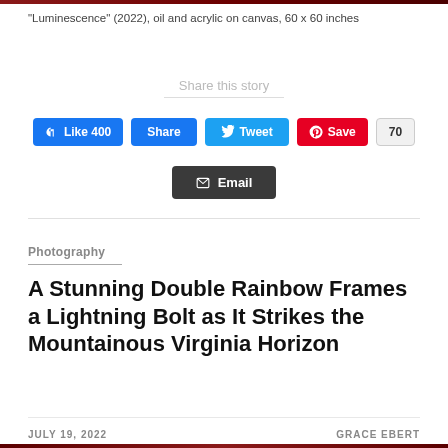“Luminescence” (2022), oil and acrylic on canvas, 60 x 60 inches
Share this story
[Figure (screenshot): Social sharing buttons: Facebook Like 400, Facebook Share, Twitter Tweet, Pinterest Save with count 70, and Email button]
Photography
A Stunning Double Rainbow Frames a Lightning Bolt as It Strikes the Mountainous Virginia Horizon
JULY 19, 2022   GRACE EBERT